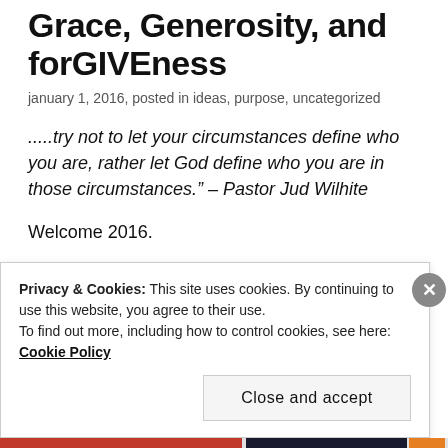Grace, Generosity, and forGIVEness
january 1, 2016, posted in ideas, purpose, uncategorized
.....try not to let your circumstances define who you are, rather let God define who you are in those circumstances." – Pastor Jud Wilhite
Welcome 2016.
Thank you 2015.
Thank you for all the reminders, the trials, the
Privacy & Cookies: This site uses cookies. By continuing to use this website, you agree to their use.
To find out more, including how to control cookies, see here: Cookie Policy
Close and accept